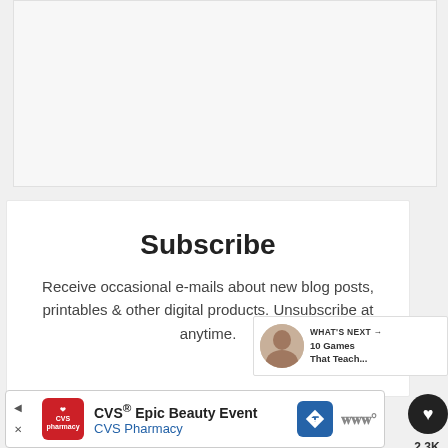[Figure (other): Gray placeholder image area at top of page]
Subscribe
Receive occasional e-mails about new blog posts, printables & other digital products. Unsubscribe at anytime.
[Figure (other): Heart/like button (dark circle with heart icon) showing 2.3K likes, and share button below]
[Figure (other): What's Next panel: thumbnail image with text '10 Games That Teach...']
[Figure (other): Advertisement banner: CVS Epic Beauty Event / CVS Pharmacy]